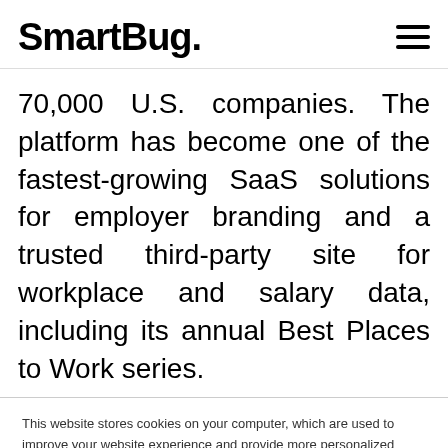SmartBug.
70,000 U.S. companies. The platform has become one of the fastest-growing SaaS solutions for employer branding and a trusted third-party site for workplace and salary data, including its annual Best Places to Work series.
This website stores cookies on your computer, which are used to improve your website experience and provide more personalized content, both on this website and through other media. To find out more, see our Privacy Policy.

In order to comply with your preferences, we'll have to use just one tiny cookie so that you're not asked to make this choice again.